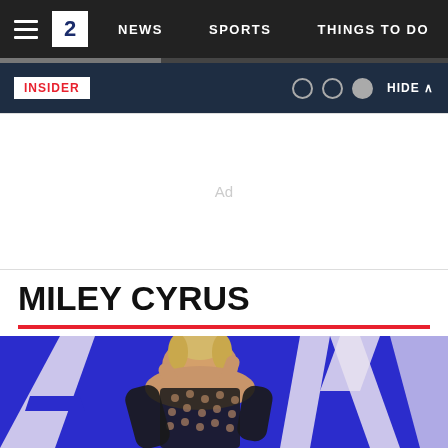NEWS  SPORTS  THINGS TO DO
INSIDER
Ad
MILEY CYRUS
[Figure (photo): Miley Cyrus standing in front of a blue background with large white letters, wearing a black mesh/fishnet outfit with a pattern and posing with hands behind her head.]